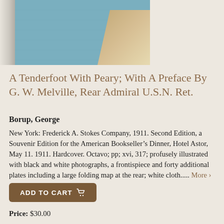[Figure (photo): Photograph of a blue/teal cloth hardcover book, showing the front cover and spine. The cover has a triangular beige/tan corner element visible on the right side.]
A Tenderfoot With Peary; With A Preface By G. W. Melville, Rear Admiral U.S.N. Ret.
Borup, George
New York: Frederick A. Stokes Company, 1911. Second Edition, a Souvenir Edition for the American Bookseller’s Dinner, Hotel Astor, May 11. 1911. Hardcover. Octavo; pp; xvi, 317; profusely illustrated with black and white photographs, a frontispiece and forty additional plates including a large folding map at the rear; white cloth..... More ›
ADD TO CART
Price: $30.00